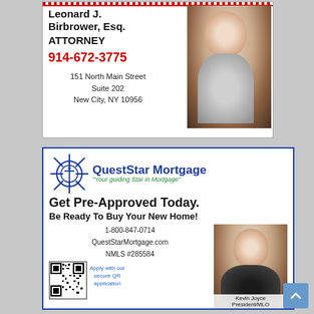[Figure (photo): Advertisement for Leonard J. Birbrower, Esq., Attorney. Shows name, phone 914-672-3775, address 151 North Main Street Suite 202 New City NY 10956, and a photo of an elderly man.]
[Figure (photo): Advertisement for QuestStar Mortgage with logo, tagline 'Your guiding Star in Mortgage', headline 'Get Pre-Approved Today. Be Ready To Buy Your New Home!', phone 1-800-847-0714, website QuestStarMortgage.com, NMLS #285584, QR code, and photo of Kevin Joyce President/MLO.]